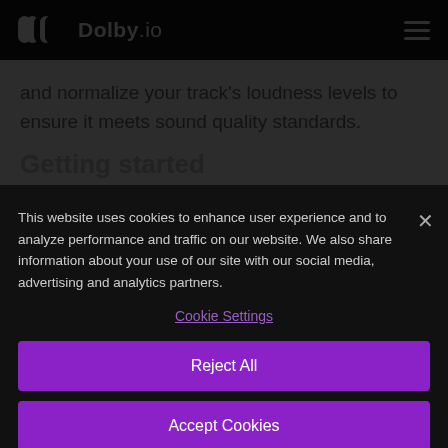Dolby.io
and normalize your track's loudness levels to ensure it meets sound quality standards.
(partial, obscured)
This website uses cookies to enhance user experience and to analyze performance and traffic on our website. We also share information about your use of our site with our social media, advertising and analytics partners.
Cookie Settings
Reject All
Accept Cookies